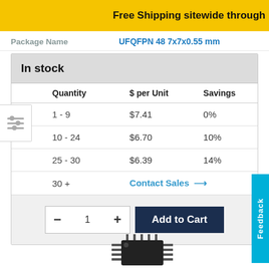Free Shipping sitewide through
Package Name   UFQFPN 48 7x7x0.55 mm
| Quantity | $ per Unit | Savings |
| --- | --- | --- |
| 1 - 9 | $7.41 | 0% |
| 10 - 24 | $6.70 | 10% |
| 25 - 30 | $6.39 | 14% |
| 30 + | Contact Sales → |  |
In stock
- 1 + Add to Cart
Feedback